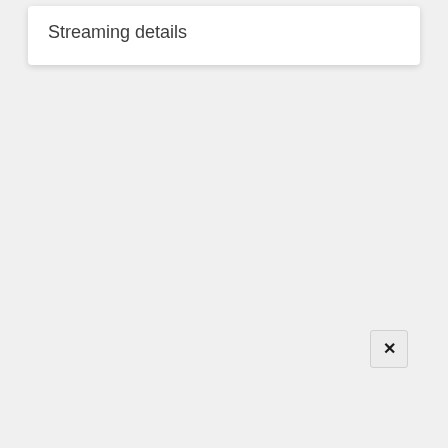Streaming details
[Figure (screenshot): A close button (X) in a small rounded rectangle button, light gray background]